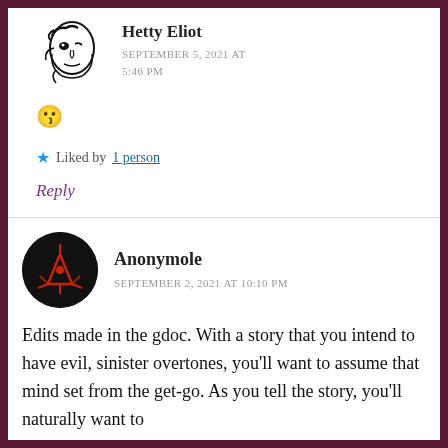[Figure (illustration): Avatar image of Hetty Eliot – a stylized black and white face illustration]
Hetty Eliot
SEPTEMBER 5, 2021 AT 5:46 PM
😗
★ Liked by 1 person
Reply
[Figure (illustration): Avatar image of Anonymole – a dark circular avatar with glowing red triangle/lines on black background]
Anonymole
SEPTEMBER 2, 2021 AT 10:10 PM
Edits made in the gdoc. With a story that you intend to have evil, sinister overtones, you'll want to assume that mind set from the get-go. As you tell the story, you'll naturally want to